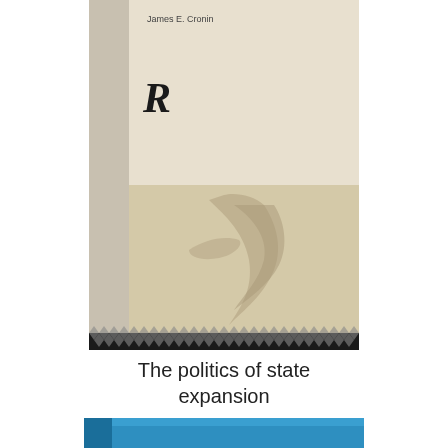[Figure (illustration): Book cover for 'The politics of state expansion' by James E. Cronin, published by Routledge. The cover shows a beige/cream upper section with a stylized Routledge 'R' logo and the author's name. A lower sandy section features a shadowy bird or figure silhouette. A diamond-pattern dark border runs along the bottom of the cover image.]
The politics of state expansion
[Figure (photo): Partially visible blue book cover at the bottom of the page.]